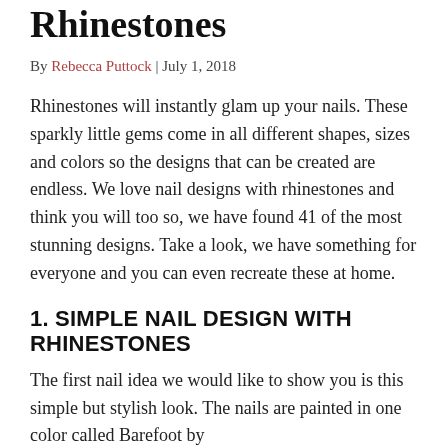Rhinestones
By Rebecca Puttock | July 1, 2018
Rhinestones will instantly glam up your nails. These sparkly little gems come in all different shapes, sizes and colors so the designs that can be created are endless. We love nail designs with rhinestones and think you will too so, we have found 41 of the most stunning designs. Take a look, we have something for everyone and you can even recreate these at home.
1. SIMPLE NAIL DESIGN WITH RHINESTONES
The first nail idea we would like to show you is this simple but stylish look. The nails are painted in one color called Barefoot by